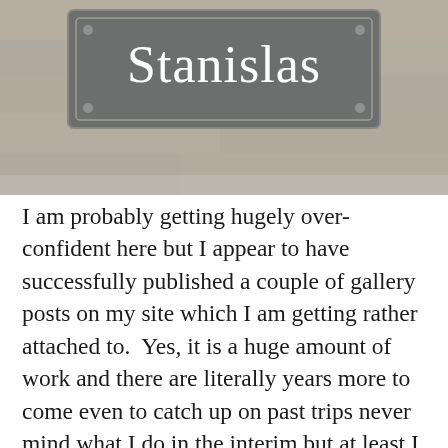[Figure (photo): A French street sign reading 'Stanislas' in white serif text on a dark grey/slate rectangular sign with a decorative border, mounted on a stone wall.]
I am probably getting hugely over-confident here but I appear to have successfully published a couple of gallery posts on my site which I am getting rather attached to.  Yes, it is a huge amount of work and there are literally years more to come even to catch up on past trips never mind what I do in the interim but at least I know my work is relatively safe here on the principle that I am probably unlikely to shut myself down as has happened to me too often